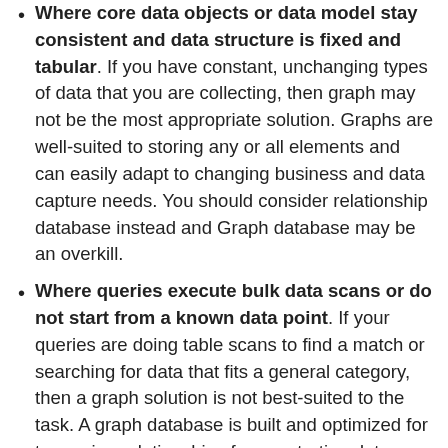Where core data objects or data model stay consistent and data structure is fixed and tabular. If you have constant, unchanging types of data that you are collecting, then graph may not be the most appropriate solution. Graphs are well-suited to storing any or all elements and can easily adapt to changing business and data capture needs. You should consider relationship database instead and Graph database may be an overkill.
Where queries execute bulk data scans or do not start from a known data point. If your queries are doing table scans to find a match or searching for data that fits a general category, then a graph solution is not best-suited to the task. A graph database is built and optimized for traversing relationships from a starting data point or set. It is not optimized for searching the entire